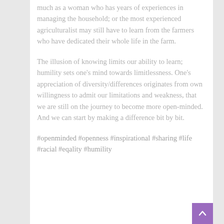much as a woman who has years of experiences in managing the household; or the most experienced agriculturalist may still have to learn from the farmers who have dedicated their whole life in the farm.
The illusion of knowing limits our ability to learn; humility sets one's mind towards limitlessness. One's appreciation of diversity/differences originates from own willingness to admit our limitations and weakness, that we are still on the journey to become more open-minded. And we can start by making a difference bit by bit.
#openminded #openness #inspirational #sharing #life #racial #eqality #humility